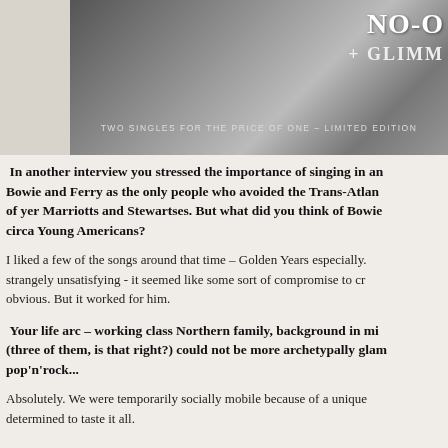[Figure (photo): Greyscale record/album cover image with text 'NO-O' and '+ GLIMM' on the right side, and 'TWO SINGLES FOR THE PRICE OF ONE – LIMITED EDITION' at the bottom]
In another interview you stressed the importance of singing in an... Bowie and Ferry as the only people who avoided the Trans-Atlan... of yer Marriotts and Stewartses. But what did you think of Bowie... circa Young Americans?
I liked a few of the songs around that time – Golden Years especially. strangely unsatisfying - it seemed like some sort of compromise to cr... obvious. But it worked for him.
Your life arc – working class Northern family, background in mi... (three of them, is that right?) could not be more archetypally glam... pop'n'rock...
Absolutely. We were temporarily socially mobile because of a unique... determined to taste it all.